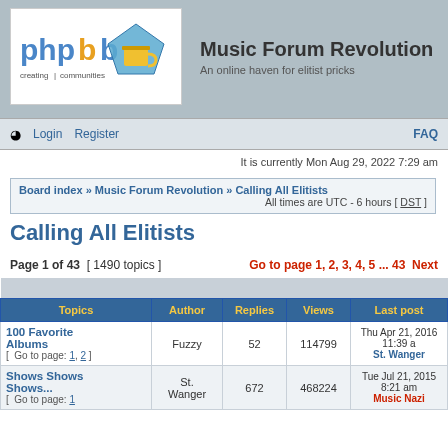[Figure (logo): phpBB logo with 'creating communities' text]
Music Forum Revolution
An online haven for elitist pricks
Login   Register   FAQ
It is currently Mon Aug 29, 2022 7:29 am
Board index » Music Forum Revolution » Calling All Elitists   All times are UTC - 6 hours [ DST ]
Calling All Elitists
Page 1 of 43  [ 1490 topics ]   Go to page 1, 2, 3, 4, 5 ... 43  Next
| Topics | Author | Replies | Views | Last post |
| --- | --- | --- | --- | --- |
| 100 Favorite Albums [ Go to page: 1, 2 ] | Fuzzy | 52 | 114799 | Thu Apr 21, 2016 11:39 a St. Wanger |
| Shows Shows Shows... [ Go to page: 1 | St. Wanger | 672 | 468224 | Tue Jul 21, 2015 8:21 am Music Nazi |